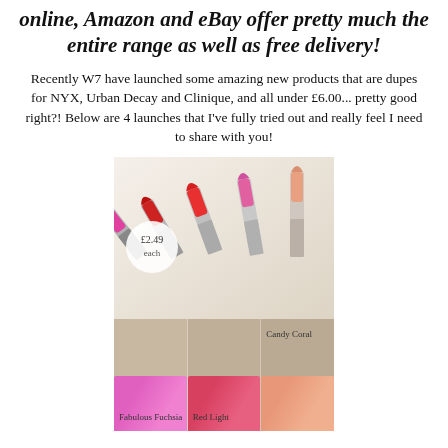online, Amazon and eBay offer pretty much the entire range as well as free delivery!
Recently W7 have launched some amazing new products that are dupes for NYX, Urban Decay and Clinique, and all under £6.00... pretty good right?! Below are 4 launches that I've fully tried out and really feel I need to share with you!
[Figure (photo): Photo of multiple W7 lipsticks fanned out on a light background with a price label '£2.49 each' in a white circle, above color swatches labeled 'Fabulous Fuchsia', 'Red Light', and 'Candy Coral' on skin-toned background.]